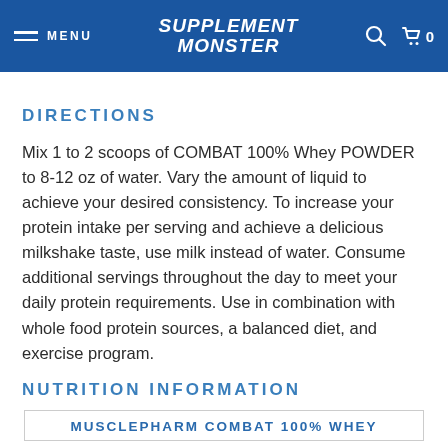MENU | SUPPLEMENT MONSTER | 0
DIRECTIONS
Mix 1 to 2 scoops of COMBAT 100% Whey POWDER to 8-12 oz of water. Vary the amount of liquid to achieve your desired consistency. To increase your protein intake per serving and achieve a delicious milkshake taste, use milk instead of water. Consume additional servings throughout the day to meet your daily protein requirements. Use in combination with whole food protein sources, a balanced diet, and exercise program.
NUTRITION INFORMATION
MUSCLEPHARM COMBAT 100% WHEY